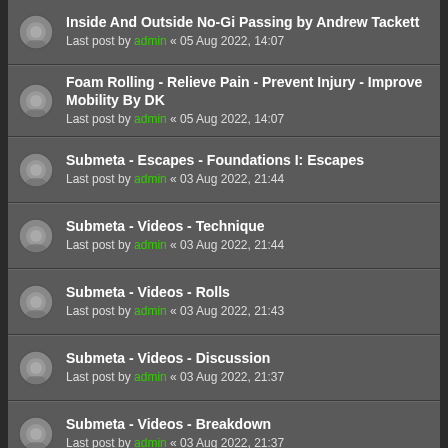Inside And Outside No-Gi Passing by Andrew Tackett
Last post by admin « 05 Aug 2022, 14:07
Foam Rolling - Relieve Pain - Prevent Injury - Improve Mobility By DK
Last post by admin « 05 Aug 2022, 14:07
Submeta - Escapes - Foundations I: Escapes
Last post by admin « 03 Aug 2022, 21:44
Submeta - Videos - Technique
Last post by admin « 03 Aug 2022, 21:44
Submeta - Videos - Rolls
Last post by admin « 03 Aug 2022, 21:43
Submeta - Videos - Discussion
Last post by admin « 03 Aug 2022, 21:37
Submeta - Videos - Breakdown
Last post by admin « 03 Aug 2022, 21:37
Submeta - Takedowns - CatDog
Last post by admin « 03 Aug 2022, 21:36